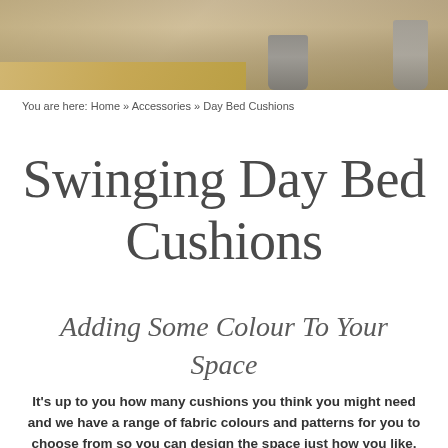[Figure (photo): Header photo of a wooden day bed or bench with metal buckets and garden decor in the background, with stone paving visible]
You are here: Home » Accessories » Day Bed Cushions
Swinging Day Bed Cushions
Adding Some Colour To Your Space
It's up to you how many cushions you think you might need and we have a range of fabric colours and patterns for you to choose from so you can design the space just how you like.